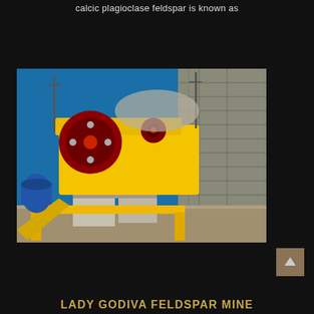calcic plagioclase feldspar is known as
[Figure (photo): Yellow and red/maroon jaw crusher machine mounted on concrete blocks at a feldspar mine site, with stone wall in background and blue sky, and a blue cylindrical machine visible on the left.]
LADY GODIVA FELDSPAR MINE